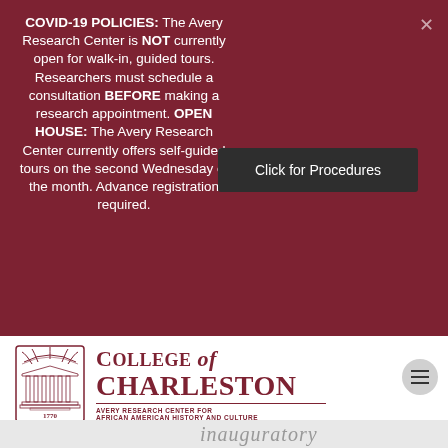COVID-19 POLICIES: The Avery Research Center is NOT currently open for walk-in, guided tours. Researchers must schedule a consultation BEFORE making a research appointment. OPEN HOUSE: The Avery Research Center currently offers self-guided tours on the second Wednesday of the month. Advance registration required.
Click for Procedures
[Figure (logo): College of Charleston logo with seal and text 'COLLEGE of CHARLESTON - AVERY RESEARCH CENTER FOR AFRICAN AMERICAN HISTORY AND CULTURE']